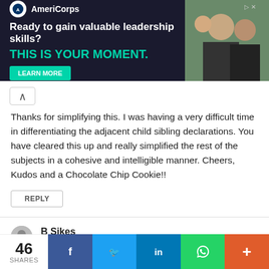[Figure (screenshot): AmeriCorps advertisement banner. Dark navy background with AmeriCorps logo. Text: 'Ready to gain valuable leadership skills?' and 'THIS IS YOUR MOMENT.' with a teal 'LEARN MORE' button. Photo of students on the right.]
Thanks for simplifying this. I was having a very difficult time in differentiating the adjacent child sibling declarations. You have cleared this up and really simplified the rest of the subjects in a cohesive and intelligible manner. Cheers, Kudos and a Chocolate Chip Cookie!!
REPLY
B Sikes
July 18, 2017 at 6:17 pm
Very concise. To the point. Wonderful read and highly
46 SHARES